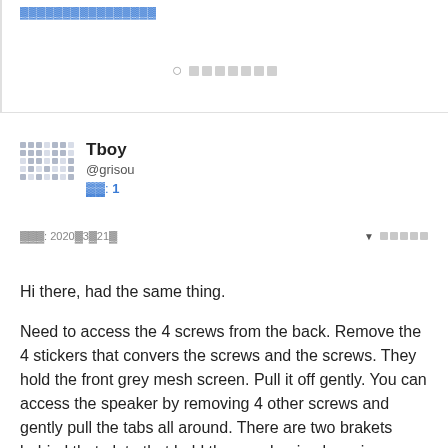▓▓▓▓▓▓▓▓▓▓▓▓▓▓▓
◯ ▓▓▓▓▓▓▓
Tboy @grisou ▓▓: 1
▓▓▓: 2020▓3▓21▓ ▼ ▓▓▓▓▓
Hi there, had the same thing.
Need to access the 4 screws from the back. Remove the 4 stickers that convers the screws and the screws. They hold the front grey mesh screen. Pull it off gently. You can access the speaker by removing 4 other screws and gently pull the tabs all around. There are two brakets behind that plate that hold the speaker in place, i was able